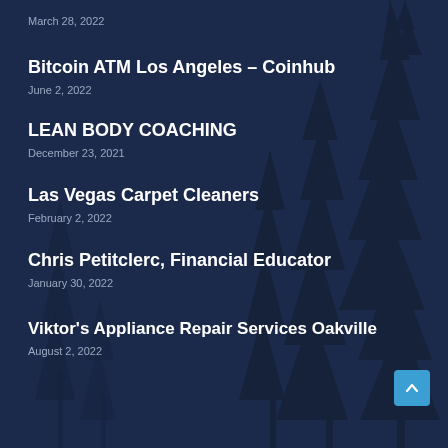March 28, 2022
Bitcoin ATM Los Angeles – Coinhub
June 2, 2022
LEAN BODY COACHING
December 23, 2021
Las Vegas Carpet Cleaners
February 2, 2022
Chris Petitclerc, Financial Educator
January 30, 2022
Viktor's Appliance Repair Services Oakville
August 2, 2022